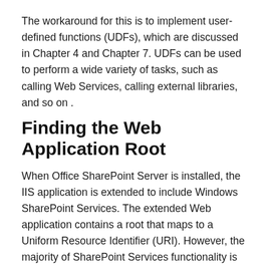The workaround for this is to implement user-defined functions (UDFs), which are discussed in Chapter 4 and Chapter 7. UDFs can be used to perform a wide variety of tasks, such as calling Web Services, calling external libraries, and so on .
Finding the Web Application Root
When Office SharePoint Server is installed, the IIS application is extended to include Windows SharePoint Services. The extended Web application contains a root that maps to a Uniform Resource Identifier (URI). However, the majority of SharePoint Services functionality is stored in a content database and not in the root site or in the file structure of the Web application. Chapter 5 will discuss this in more detail. For now, note that the root does contain some files to include the web.config, user controls, Web Part